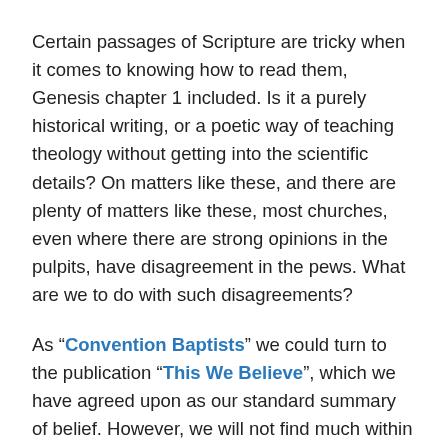Certain passages of Scripture are tricky when it comes to knowing how to read them,  Genesis chapter 1 included. Is it a purely historical writing, or a poetic way of teaching theology without getting into the scientific details? On matters like these, and there are plenty of matters like these, most churches, even where there are strong opinions in the pulpits, have disagreement in the pews. What are we to do with such disagreements?
As “Convention Baptists” we could turn to the publication “This We Believe”, which we have agreed upon as our standard summary of belief. However, we will not find much within it regarding the age of the earth, or clarity on some other disputable matters we might want cleared up. Perhaps we could come up with our own supplementary summary calling it “This We Also Believe”? We could